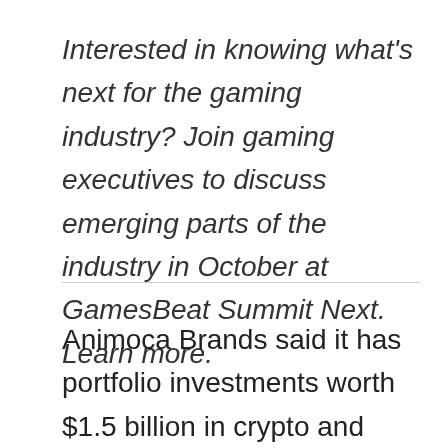Interested in knowing what's next for the gaming industry? Join gaming executives to discuss emerging parts of the industry in October at GamesBeat Summit Next. Learn more.
Animoca Brands said it has portfolio investments worth $1.5 billion in crypto and blockchain games across